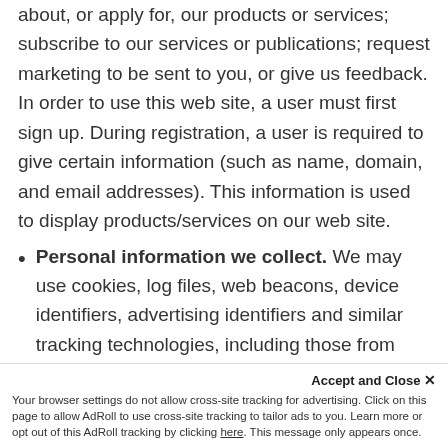about, or apply for, our products or services; subscribe to our services or publications; request marketing to be sent to you, or give us feedback. In order to use this web site, a user must first sign up. During registration, a user is required to give certain information (such as name, domain, and email addresses). This information is used to display products/services on our web site.
Personal information we collect. We may use cookies, log files, web beacons, device identifiers, advertising identifiers and similar tracking technologies, including those from third-party service providers like Google Analytics, Google Tag Manager, HubSpot,
Accept and Close ✕
Your browser settings do not allow cross-site tracking for advertising. Click on this page to allow AdRoll to use cross-site tracking to tailor ads to you. Learn more or opt out of this AdRoll tracking by clicking here. This message only appears once.